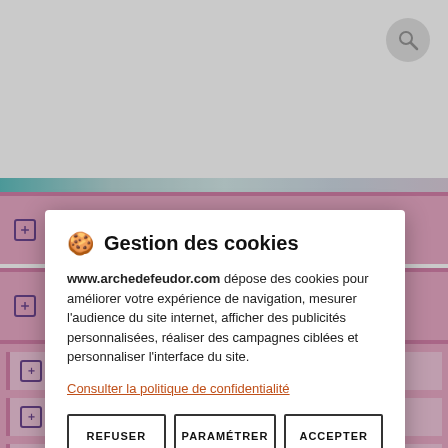[Figure (screenshot): Search button (magnifying glass icon) in top right corner, circular grey button]
⊞ CITATIONS LUMIERE
⊞ MESSAGES LUMIERE
[Figure (screenshot): Cookie consent modal dialog on website www.archedefeudor.com with title 'Gestion des cookies', description text, privacy policy link, and three buttons: REFUSER, PARAMÉTRER, ACCEPTER]